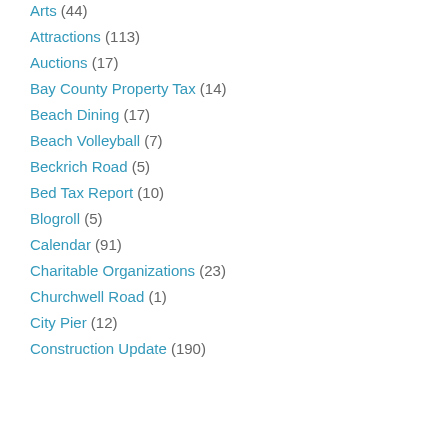Arts (44)
Attractions (113)
Auctions (17)
Bay County Property Tax (14)
Beach Dining (17)
Beach Volleyball (7)
Beckrich Road (5)
Bed Tax Report (10)
Blogroll (5)
Calendar (91)
Charitable Organizations (23)
Churchwell Road (1)
City Pier (12)
Construction Update (190)